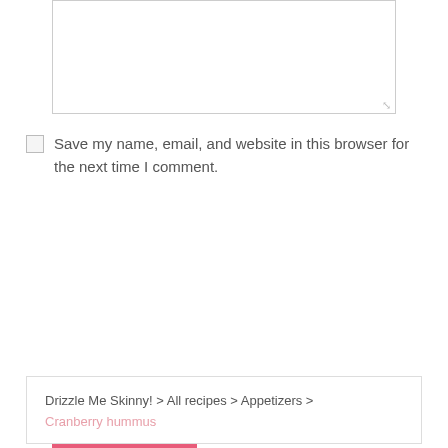[textarea box]
Save my name, email, and website in this browser for the next time I comment.
POST COMMENT
Drizzle Me Skinny! > All recipes > Appetizers > Cranberry hummus